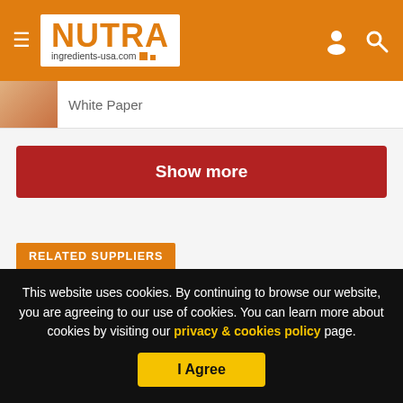NUTRA ingredients-usa.com
White Paper
Show more
RELATED SUPPLIERS
DSM Nutritional Products | Fonterra | Funtrition® by Procaps | Gemini Pharmaceuticals | Glanbia Nutritionals | JRS PHARMA | Karallief® Inc. | KLK OLEO | Mibelle Biochemistry
This website uses cookies. By continuing to browse our website, you are agreeing to our use of cookies. You can learn more about cookies by visiting our privacy & cookies policy page.
I Agree